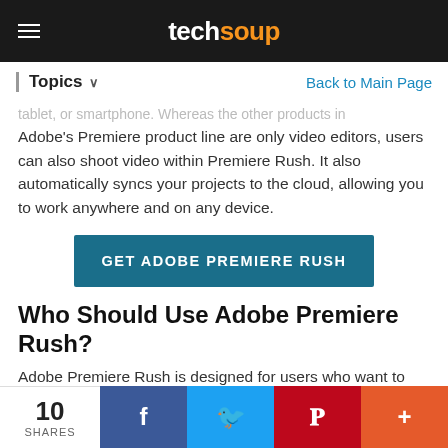techsoup
Topics ∨
Back to Main Page
tablet, or smartphone. Whereas the other products in Adobe's Premiere product line are only video editors, users can also shoot video within Premiere Rush. It also automatically syncs your projects to the cloud, allowing you to work anywhere and on any device.
GET ADOBE PREMIERE RUSH
Who Should Use Adobe Premiere Rush?
Adobe Premiere Rush is designed for users who want to create professional quality content but don't need the full creative control that Premiere Pro offers. Premiere Rush users typically own the entire workflow from capture all the
10 SHARES